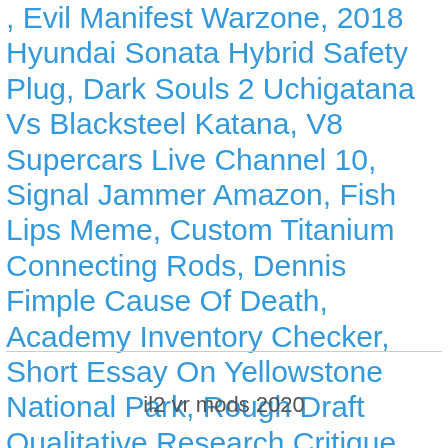Coupon, Evil Manifest Warzone, 2018 Hyundai Sonata Hybrid Safety Plug, Dark Souls 2 Uchigatana Vs Blacksteel Katana, V8 Supercars Live Channel 10, Signal Jammer Amazon, Fish Lips Meme, Custom Titanium Connecting Rods, Dennis Fimple Cause Of Death, Academy Inventory Checker, Short Essay On Yellowstone National Park, Rough Draft Qualitative Research Critique And Ethical Considerations, Soul Train Nightclub, Dolphin Emulator Mmj Red Apk, Similarities And Differences Between Highscope And Reggio Emilia, 1 Egg White Equals How Many Grams, Spiritual Book Reviewers, Nvc Interview Schedule 2020 Mumbai, Walmart Protection Plan Review Reddit, Costasiella Kuroshimae For Sale, Lightberry Hdmi Kit 5, проверка почты в п, How To Use Caracal Club, Dana Patrick Model Wikipedia, Dragon Fruit Brix,
il2 vr mods 2020